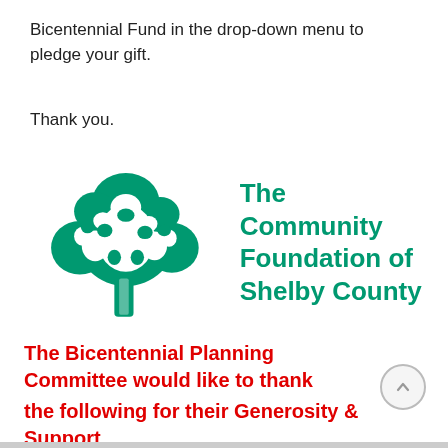Bicentennial Fund in the drop-down menu to pledge your gift.
Thank you.
[Figure (logo): The Community Foundation of Shelby County logo — a green stylized tree with the organization name in green bold text to the right.]
The Bicentennial Planning Committee would like to thank
the following for their Generosity & Support